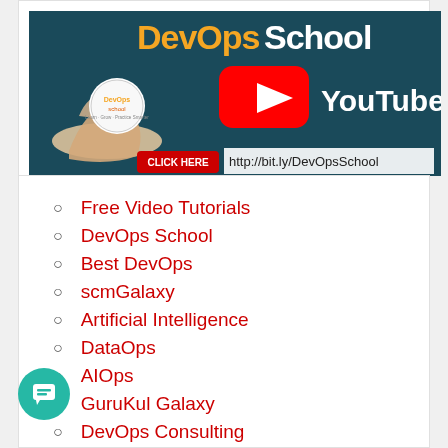[Figure (screenshot): DevOpsSchool YouTube channel promotional banner with logo, YouTube play button icon, and click here link: http://bit.ly/DevOpsSchool]
Free Video Tutorials
DevOps School
Best DevOps
scmGalaxy
Artificial Intelligence
DataOps
AIOps
GuruKul Galaxy
DevOps Consulting
DevOps Freelancers
DevOps Trainer
Free Ebooks